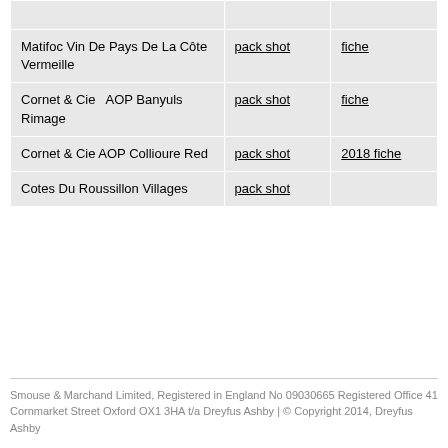| [partial row - cut off at top] |  |  |
| Matifoc Vin De Pays De La Côte Vermeille | pack shot | fiche |
| Cornet & Cie  AOP Banyuls Rimage | pack shot | fiche |
| Cornet & Cie AOP Collioure Red | pack shot | 2018 fiche |
| Cotes Du Roussillon Villages | pack shot |  |
Smouse & Marchand Limited, Registered in England No 09030665 Registered Office 41 Cornmarket Street Oxford OX1 3HA t/a Dreyfus Ashby | © Copyright 2014, Dreyfus Ashby